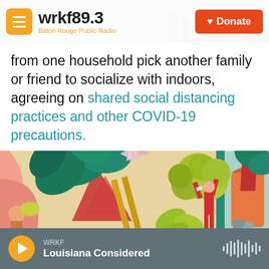wrkf89.3 Baton Rouge Public Radio | Donate
from one household pick another family or friend to socialize with indoors, agreeing on shared social distancing practices and other COVID-19 precautions.
[Figure (illustration): Colorful illustration of a person in red clothing reaching up to tend to large tropical plants and trees indoors, with bright colors including teal, orange, pink, and yellow-green. Geometric shapes and other plants fill the background.]
WRKF | Louisiana Considered